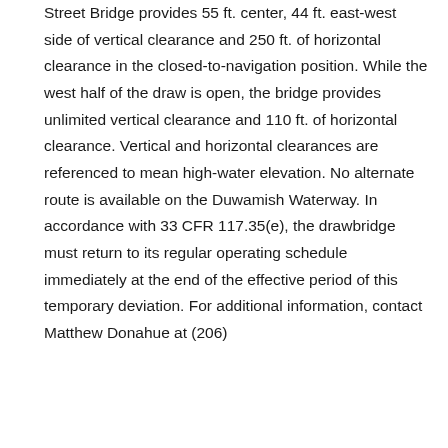Street Bridge provides 55 ft. center, 44 ft. east-west side of vertical clearance and 250 ft. of horizontal clearance in the closed-to-navigation position. While the west half of the draw is open, the bridge provides unlimited vertical clearance and 110 ft. of horizontal clearance. Vertical and horizontal clearances are referenced to mean high-water elevation. No alternate route is available on the Duwamish Waterway. In accordance with 33 CFR 117.35(e), the drawbridge must return to its regular operating schedule immediately at the end of the effective period of this temporary deviation. For additional information, contact Matthew Donahue at (206)